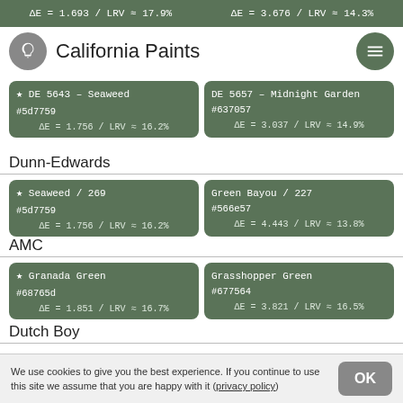ΔE = 1.693 / LRV ≈ 17.9%   ΔE = 3.676 / LRV ≈ 14.3%
California Paints
★ DE 5643 – Seaweed
#5d7759
ΔE = 1.756 / LRV ≈ 16.2%
DE 5657 – Midnight Garden
#637057
ΔE = 3.037 / LRV ≈ 14.9%
Dunn-Edwards
★ Seaweed / 269
#5d7759
ΔE = 1.756 / LRV ≈ 16.2%
Green Bayou / 227
#566e57
ΔE = 4.443 / LRV ≈ 13.8%
AMC
★ Granada Green
#68765d
ΔE = 1.851 / LRV ≈ 16.7%
Grasshopper Green
#677564
ΔE = 3.821 / LRV ≈ 16.5%
Dutch Boy
We use cookies to give you the best experience. If you continue to use this site we assume that you are happy with it (privacy policy)